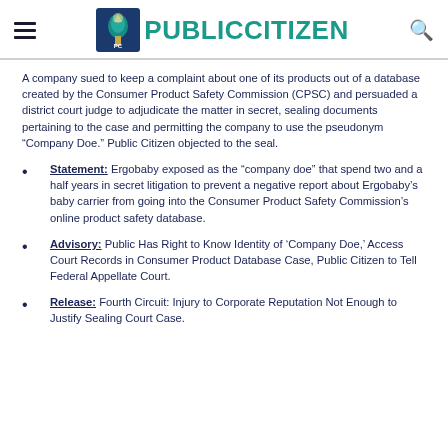PUBLIC CITIZEN
A company sued to keep a complaint about one of its products out of a database created by the Consumer Product Safety Commission (CPSC) and persuaded a district court judge to adjudicate the matter in secret, sealing documents pertaining to the case and permitting the company to use the pseudonym “Company Doe.” Public Citizen objected to the seal.
Statement: Ergobaby exposed as the “company doe” that spend two and a half years in secret litigation to prevent a negative report about Ergobaby’s baby carrier from going into the Consumer Product Safety Commission’s online product safety database.
Advisory: Public Has Right to Know Identity of ‘Company Doe,’ Access Court Records in Consumer Product Database Case, Public Citizen to Tell Federal Appellate Court.
Release: Fourth Circuit: Injury to Corporate Reputation Not Enough to Justify Sealing Court Case.